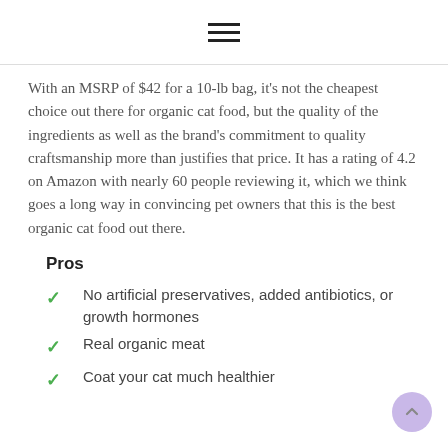≡
With an MSRP of $42 for a 10-lb bag, it's not the cheapest choice out there for organic cat food, but the quality of the ingredients as well as the brand's commitment to quality craftsmanship more than justifies that price. It has a rating of 4.2 on Amazon with nearly 60 people reviewing it, which we think goes a long way in convincing pet owners that this is the best organic cat food out there.
Pros
No artificial preservatives, added antibiotics, or growth hormones
Real organic meat
Coat your cat much healthier